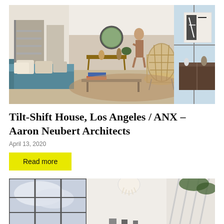[Figure (photo): Interior of a modern living room with white walls, wood floors, a sofa with patterned pillows, a wicker accent chair, a round mirror, a wooden console table, large windows, and abstract wall art.]
Tilt-Shift House, Los Angeles / ANX – Aaron Neubert Architects
April 13, 2020
Read more
[Figure (photo): Interior architectural photo showing large floor-to-ceiling steel-framed windows, white walls, a decorative shell pendant light, and a staircase railing, with lush greenery visible outside.]